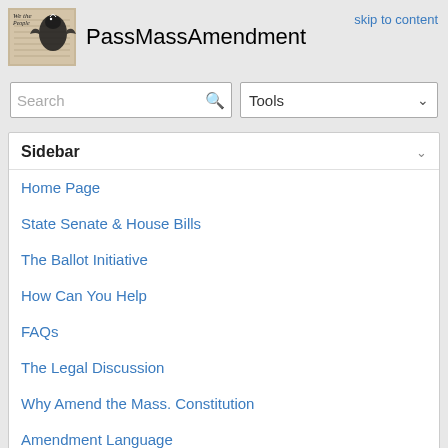[Figure (logo): We the People Constitution document image with an eagle, black and white historical document graphic]
PassMassAmendment
skip to content
Search
Tools
Sidebar
Home Page
State Senate & House Bills
The Ballot Initiative
How Can You Help
FAQs
The Legal Discussion
Why Amend the Mass. Constitution
Amendment Language
Endosements & Advisors
Calendar of Events
Posters & Handouts